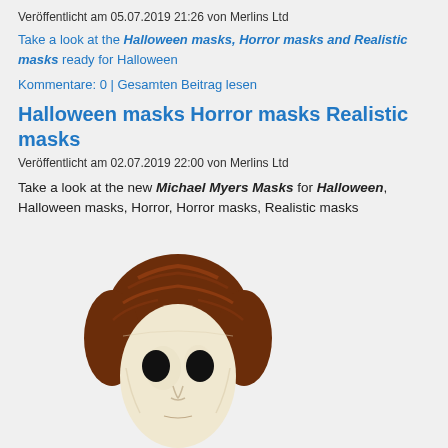Veröffentlicht am 05.07.2019 21:26 von Merlins Ltd
Take a look at the Halloween masks, Horror masks and Realistic masks ready for Halloween
Kommentare: 0 | Gesamten Beitrag lesen
Halloween masks Horror masks Realistic masks
Veröffentlicht am 02.07.2019 22:00 von Merlins Ltd
Take a look at the new Michael Myers Masks for Halloween, Halloween masks, Horror, Horror masks, Realistic masks
[Figure (photo): Michael Myers Halloween mask - pale white face mask with dark eye holes and reddish-brown hair]